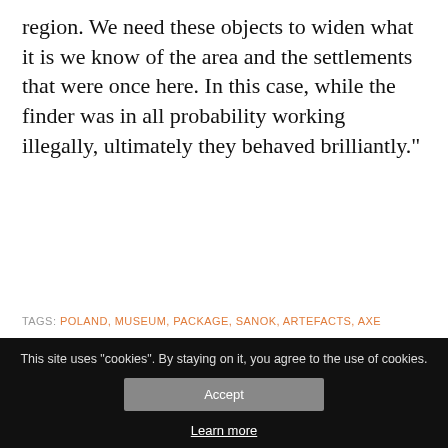region. We need these objects to widen what it is we know of the area and the settlements that were once here. In this case, while the finder was in all probability working illegally, ultimately they behaved brilliantly.”
TAGS: POLAND, MUSEUM, PACKAGE, SANOK, ARTEFACTS, AXE
Share:
[Figure (screenshot): Social share icons: Facebook, Twitter, Pinterest, LinkedIn]
[Figure (photo): Partial photo showing blue textured surface on left and grey surface on right with a crack/line running diagonally]
This site uses "cookies". By staying on it, you agree to the use of cookies.
Accept
Learn more